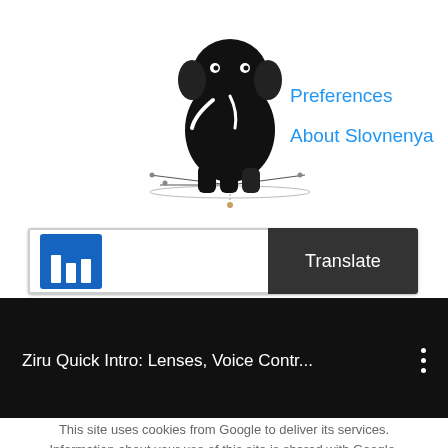[Figure (illustration): Black elephant mascot logo (Slovnenya) with shadow/radar lines, on white background]
Preferences
About Slovnenya
[Figure (screenshot): Translation input bar with blue text cursor icon and dark Translate button]
[Figure (screenshot): Dark video player bar showing title 'Ziru Quick Intro: Lenses, Voice Contr...' with three-dot menu]
This site uses cookies from Google to deliver its services. Information about your use of this site is shared with Google. By using this site, you agree to its use of cookies.  More info.
I Understand